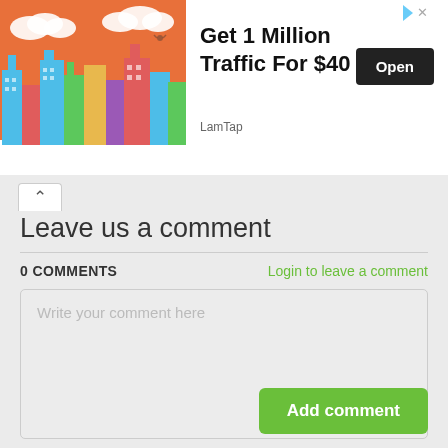[Figure (illustration): Advertisement banner with a colorful city skyline illustration on the left, bold text 'Get 1 Million Traffic For $40', brand name 'LamTap', and an 'Open' button on the right. Corner icons for ad attribution.]
Leave us a comment
0 COMMENTS
Login to leave a comment
Write your comment here
Add comment